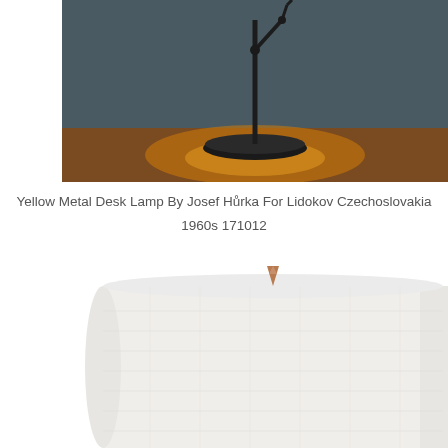[Figure (photo): Close-up photograph of a desk lamp base on a wooden surface, showing a black metal arm/stem against a dark teal/gray background, with warm amber light illuminating the wooden desk surface below.]
Yellow Metal Desk Lamp By Josef Hůrka For Lidokov Czechoslovakia 1960s 171012
[Figure (photo): Close-up photograph of a large cylindrical white linen/fabric lamp shade, with a small brass or copper finial visible at the top center. The shade has a textured fabric weave pattern and the image is cropped to show primarily the shade against a white background.]